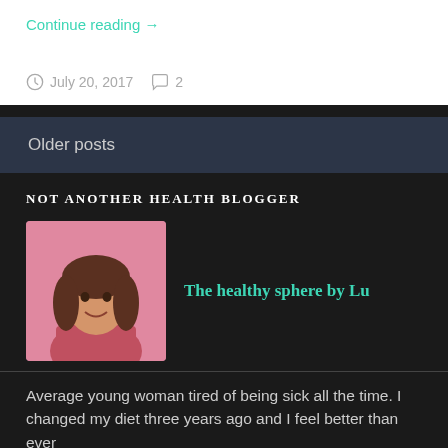Continue reading →
July 20, 2017   2
Older posts
NOT ANOTHER HEALTH BLOGGER
[Figure (photo): Portrait photo of a young woman with long brown hair, smiling, against a pink background]
The healthy sphere by Lu
Average young woman tired of being sick all the time. I changed my diet three years ago and I feel better than ever